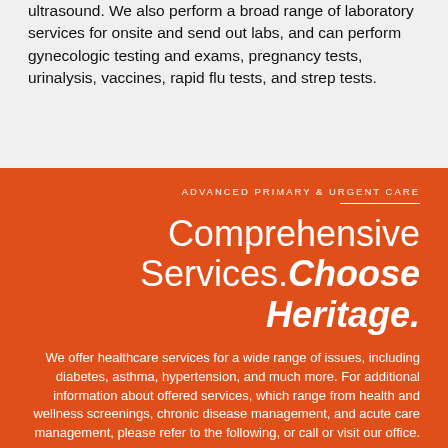ultrasound. We also perform a broad range of laboratory services for onsite and send out labs, and can perform gynecologic testing and exams, pregnancy tests, urinalysis, vaccines, rapid flu tests, and strep tests.
ADVANCED PRIMARY & URGENT CARE
Comprehensive Services.Choose Heritage.
We offer healthcare services for a wide range of issues, including diabetes, asthma, hypertension, and much more. For additional information about offered services, which range from health and wellness screenings, chronic disease management, and acute care management, please refer to the following, or call or visit our office.